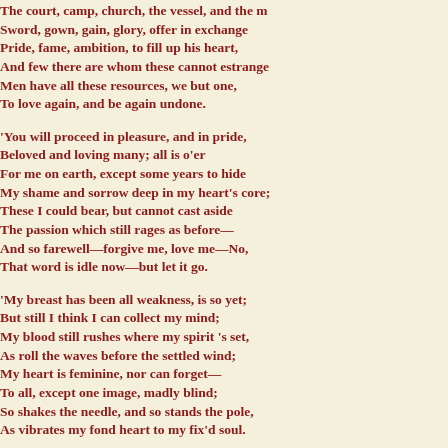The court, camp, church, the vessel, and the m...
Sword, gown, gain, glory, offer in exchange
Pride, fame, ambition, to fill up his heart,
And few there are whom these cannot estrange
Men have all these resources, we but one,
To love again, and be again undone.

'You will proceed in pleasure, and in pride,
Beloved and loving many; all is o'er
For me on earth, except some years to hide
My shame and sorrow deep in my heart's core;
These I could bear, but cannot cast aside
The passion which still rages as before—
And so farewell—forgive me, love me—No,
That word is idle now—but let it go.

'My breast has been all weakness, is so yet;
But still I think I can collect my mind;
My blood still rushes where my spirit 's set,
As roll the waves before the settled wind;
My heart is feminine, nor can forget—
To all, except one image, madly blind;
So shakes the needle, and so stands the pole,
As vibrates my fond heart to my fix'd soul.